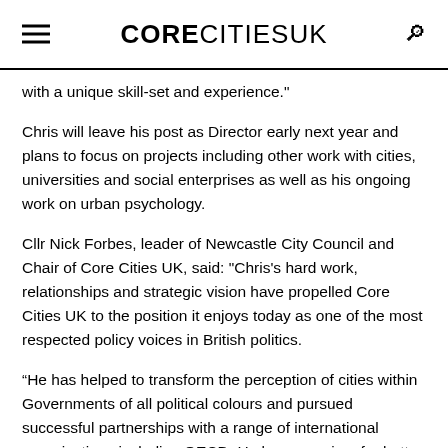CORE CITIES UK
with a unique skill-set and experience."
Chris will leave his post as Director early next year and plans to focus on projects including other work with cities, universities and social enterprises as well as his ongoing work on urban psychology.
Cllr Nick Forbes, leader of Newcastle City Council and Chair of Core Cities UK, said: "Chris's hard work, relationships and strategic vision have propelled Core Cities UK to the position it enjoys today as one of the most respected policy voices in British politics.
“He has helped to transform the perception of cities within Governments of all political colours and pursued successful partnerships with a range of international organisations including OECD. He leaves us in a far better place and I know that whatever he does next, he